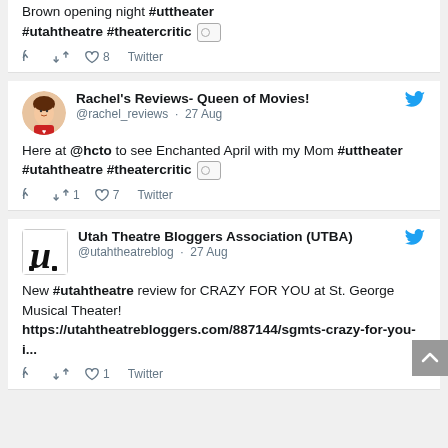Brown opening night #uttheater #utahtheatre #theatercritic [image icon]
reply retweet like 8  Twitter
Rachel's Reviews- Queen of Movies! @rachel_reviews · 27 Aug
Here at @hcto to see Enchanted April with my Mom #uttheater #utahtheatre #theatercritic [image icon]
reply retweet 1 like 7  Twitter
Utah Theatre Bloggers Association (UTBA) @utahtheatreblog · 27 Aug
New #utahtheatre review for CRAZY FOR YOU at St. George Musical Theater! https://utahtheatrebloggers.com/887144/sgmts-crazy-for-you-i...
reply retweet like 1  Twitter